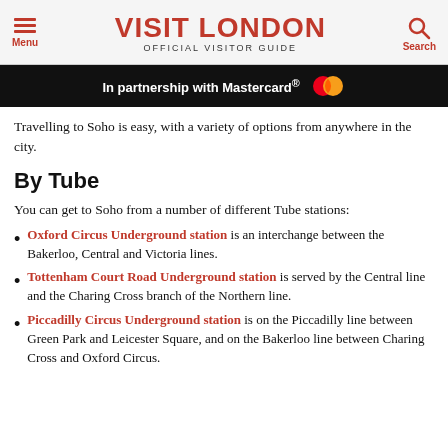VISIT LONDON OFFICIAL VISITOR GUIDE
[Figure (logo): Visit London official visitor guide logo with red text and hamburger menu icon on left, search magnifier icon on right]
In partnership with Mastercard®
Travelling to Soho is easy, with a variety of options from anywhere in the city.
By Tube
You can get to Soho from a number of different Tube stations:
Oxford Circus Underground station is an interchange between the Bakerloo, Central and Victoria lines.
Tottenham Court Road Underground station is served by the Central line and the Charing Cross branch of the Northern line.
Piccadilly Circus Underground station is on the Piccadilly line between Green Park and Leicester Square, and on the Bakerloo line between Charing Cross and Oxford Circus.